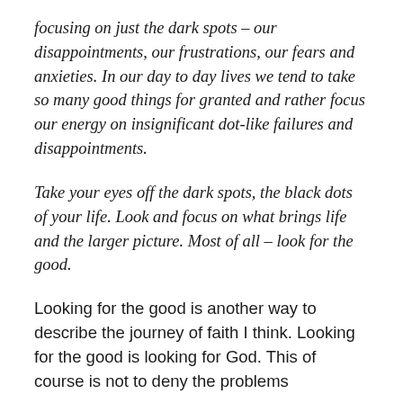focusing on just the dark spots – our disappointments, our frustrations, our fears and anxieties. In our day to day lives we tend to take so many good things for granted and rather focus our energy on insignificant dot-like failures and disappointments.
Take your eyes off the dark spots, the black dots of your life. Look and focus on what brings life and the larger picture. Most of all – look for the good.
Looking for the good is another way to describe the journey of faith I think. Looking for the good is looking for God. This of course is not to deny the problems